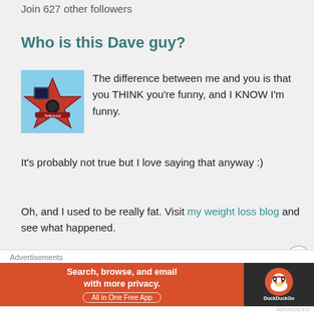Join 627 other followers
Who is this Dave guy?
[Figure (photo): A hand holding a red Hollywood star shaped object against a blue sky background]
The difference between me and you is that you THINK you're funny, and I KNOW I'm funny.
It's probably not true but I love saying that anyway :)
Oh, and I used to be really fat. Visit my weight loss blog and see what happened.
Calendar o' Posts
Advertisements
[Figure (infographic): DuckDuckGo advertisement banner: Search, browse, and email with more privacy. All in One Free App]